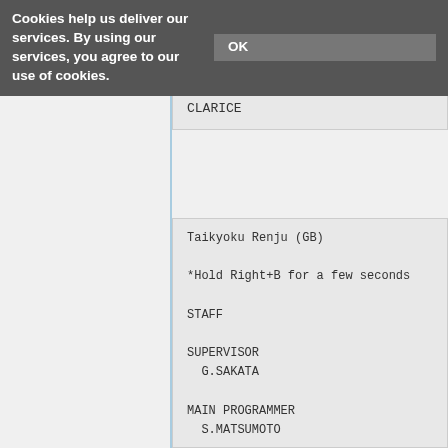Cookies help us deliver our services. By using our services, you agree to our use of cookies. OK
YUKGE
ATSUMI (Norihiro Atsumi?)
CLARICE
Taikyoku Renju (GB)

*Hold Right+B for a few seconds

STAFF

SUPERVISOR
 G.SAKATA

MAIN PROGRAMMER
 S.MATSUMOTO

SOUND PROGRAMMER
 M.ITOI (Masashi Itoi)

SOUND COMPOSER
 T.SAITO (Takeshi Saito)

GRAPHIC DESIGNER